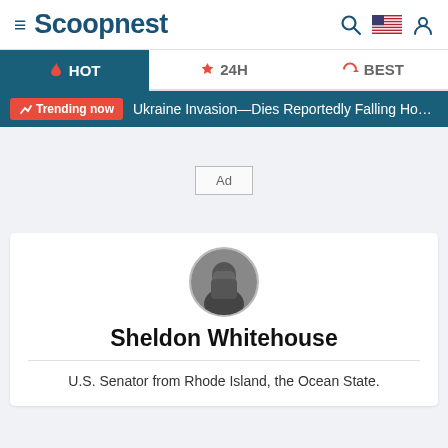≡ Scoopnest
[Figure (screenshot): Navigation tabs: HOT (active, dark teal), 24H, BEST]
Trending now — Ukraine Invasion—Dies Reportedly Falling Hospit
Ad
[Figure (photo): Circular profile photo of Sheldon Whitehouse in black and white]
Sheldon Whitehouse
U.S. Senator from Rhode Island, the Ocean State.